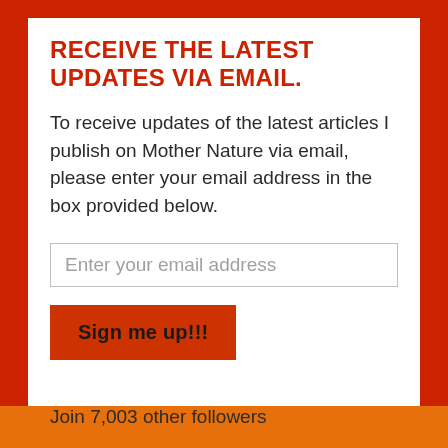RECEIVE THE LATEST UPDATES VIA EMAIL.
To receive updates of the latest articles I publish on Mother Nature via email, please enter your email address in the box provided below.
Enter your email address
Sign me up!!!
Join 7,003 other followers